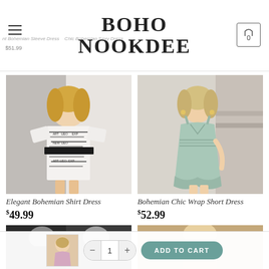BOHO NOOKDEE
Elegant Bohemian Sleeve Dress  $51.99  Chic Bohemian Sexy Dress
[Figure (photo): Woman wearing Elegant Bohemian Shirt Dress - white newspaper print dress with black belt]
Elegant Bohemian Shirt Dress $49.99
[Figure (photo): Woman wearing Bohemian Chic Wrap Short Dress - sage green sleeveless smocked wrap dress]
Bohemian Chic Wrap Short Dress $52.99
[Figure (photo): Partial product images at bottom of page - dark and tan dresses]
[Figure (photo): Add to cart bar thumbnail showing a pink/beige dress]
ADD TO CART - quantity 1